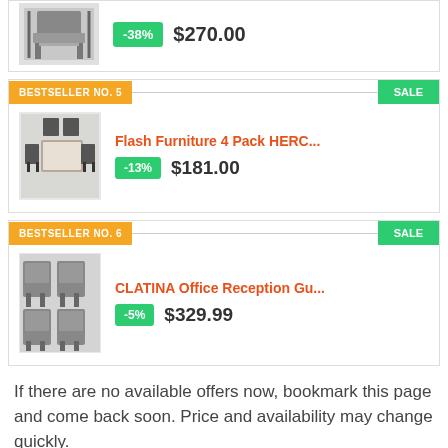[Figure (photo): Partial product card showing a chair image with -38% discount badge and $270.00 price]
BESTSELLER NO. 5
SALE
Flash Furniture 4 Pack HERC...
-13%  $181.00
BESTSELLER NO. 6
SALE
CLATINA Office Reception Gu...
-5%  $329.99
If there are no available offers now, bookmark this page and come back soon. Price and availability may change quickly.